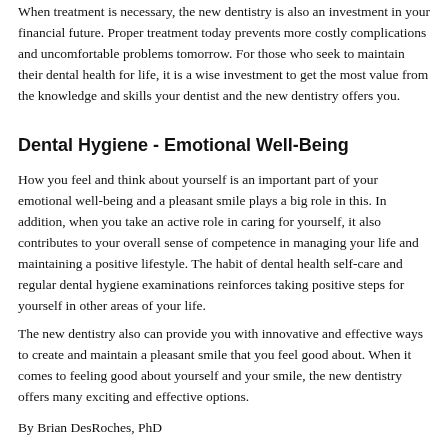When treatment is necessary, the new dentistry is also an investment in your financial future. Proper treatment today prevents more costly complications and uncomfortable problems tomorrow. For those who seek to maintain their dental health for life, it is a wise investment to get the most value from the knowledge and skills your dentist and the new dentistry offers you.
Dental Hygiene - Emotional Well-Being
How you feel and think about yourself is an important part of your emotional well-being and a pleasant smile plays a big role in this. In addition, when you take an active role in caring for yourself, it also contributes to your overall sense of competence in managing your life and maintaining a positive lifestyle. The habit of dental health self-care and regular dental hygiene examinations reinforces taking positive steps for yourself in other areas of your life.
The new dentistry also can provide you with innovative and effective ways to create and maintain a pleasant smile that you feel good about. When it comes to feeling good about yourself and your smile, the new dentistry offers many exciting and effective options.
By Brian DesRoches, PhD